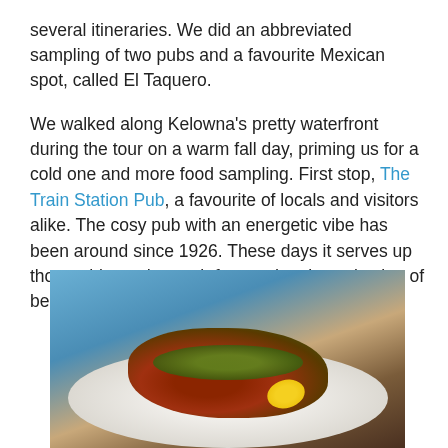several itineraries. We did an abbreviated sampling of two pubs and a favourite Mexican spot, called El Taquero.
We walked along Kelowna's pretty waterfront during the tour on a warm fall day, priming us for a cold one and more food sampling. First stop, The Train Station Pub, a favourite of locals and visitors alike. The cosy pub with an energetic vibe has been around since 1926. These days it serves up thoroughly modern pub fare and a nice selection of beers on tap.
[Figure (photo): A plate of food at a restaurant — appears to be a meat dish with vegetable garnish, herbs, and a lemon wedge on a white plate, with blurred background showing a blue-lit bar/restaurant setting.]